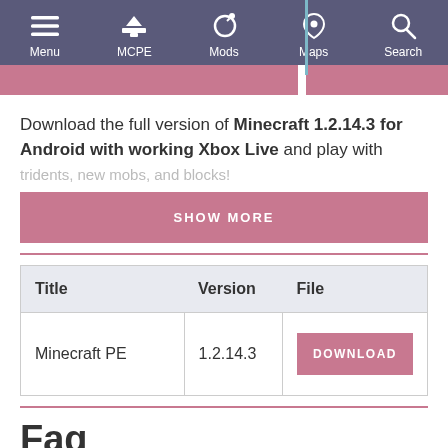Menu | MCPE | Mods | Maps | Search
Download the full version of Minecraft 1.2.14.3 for Android with working Xbox Live and play with tridents, new mobs, and blocks!
SHOW MORE
| Title | Version | File |
| --- | --- | --- |
| Minecraft PE | 1.2.14.3 | DOWNLOAD |
Faq